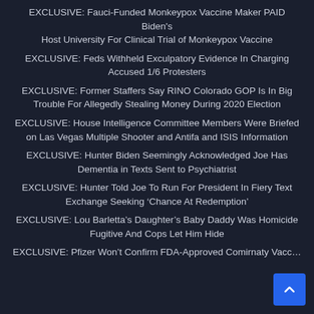EXCLUSIVE: Fauci-Funded Monkeypox Vaccine Maker PAID Biden's Host University For Clinical Trial of Monkeypox Vaccine
EXCLUSIVE: Feds Withheld Exculpatory Evidence In Charging Accused 1/6 Protesters
EXCLUSIVE: Former Staffers Say RINO Colorado GOP Is In Big Trouble For Allegedly Stealing Money During 2020 Election
EXCLUSIVE: House Intelligence Committee Members Were Briefed on Las Vegas Multiple Shooter and Antifa and ISIS Information
EXCLUSIVE: Hunter Biden Seemingly Acknowledged Joe Has Dementia in Texts Sent to Psychiatrist
EXCLUSIVE: Hunter Told Joe To Run For President In Fiery Text Exchange Seeking ‘Chance At Redemption’
EXCLUSIVE: Lou Barletta’s Daughter’s Baby Daddy Was Homicide Fugitive And Cops Let Him Hide
EXCLUSIVE: Pfizer Won’t Confirm FDA-Approved Comirnaty Vacc…